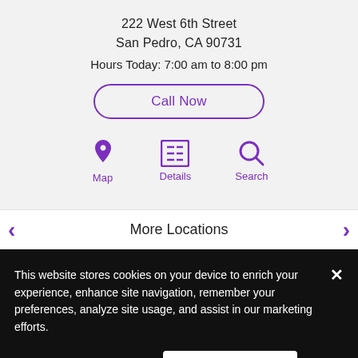222 West 6th Street
San Pedro, CA 90731
Hours Today: 7:00 am to 8:00 pm
Call Now
[Figure (infographic): Three purple icons labeled Map, Details, Search]
More Locations
This website stores cookies on your device to enrich your experience, enhance site navigation, remember your preferences, analyze site usage, and assist in our marketing efforts.
Cookie Settings
Accept Cookies